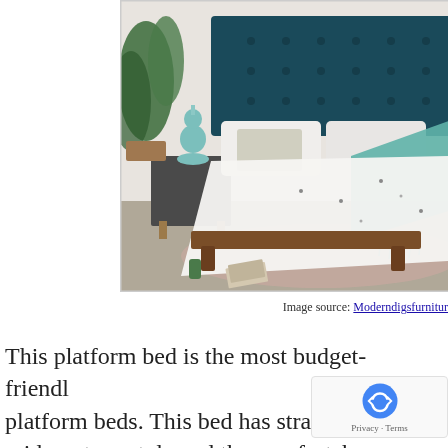[Figure (photo): A styled bedroom scene featuring a platform bed with a dark teal tufted headboard, white floral bedding, a teal throw blanket, grey nightstand with a teal ceramic lamp, and a pink rug on a grey floor. Plants and magazines visible.]
Image source: Moderndigsfurniture
This platform bed is the most budget-friendly platform beds. This bed has straight mid-century style and the comfortable upholstery that makes it all modern. It is n...